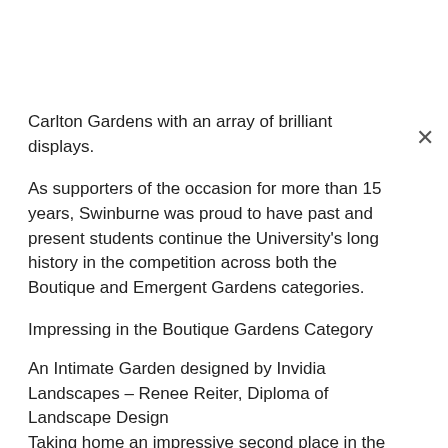Carlton Gardens with an array of brilliant displays.
As supporters of the occasion for more than 15 years, Swinburne was proud to have past and present students continue the University's long history in the competition across both the Boutique and Emergent Gardens categories.
Impressing in the Boutique Gardens Category
An Intimate Garden designed by Invidia Landscapes – Renee Reiter, Diploma of Landscape Design
Taking home an impressive second place in the Landscaping Victoria Boutique Garden Competition, Renee impressed all-comers with her carefully crafted, inviting space that showcased a variety of natural and constructed elements.
Anchored by a long-curved bench for effortless entertainment,